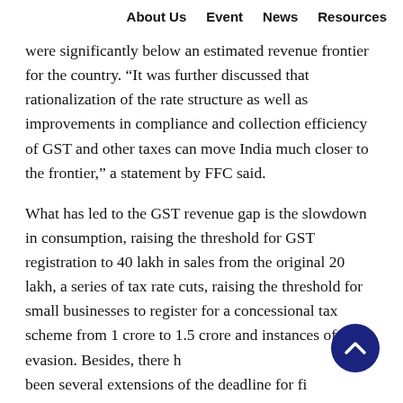About Us   Event   News   Resources
were significantly below an estimated revenue frontier for the country. “It was further discussed that rationalization of the rate structure as well as improvements in compliance and collection efficiency of GST and other taxes can move India much closer to the frontier,” a statement by FFC said.
What has led to the GST revenue gap is the slowdown in consumption, raising the threshold for GST registration to 40 lakh in sales from the original 20 lakh, a series of tax rate cuts, raising the threshold for small businesses to register for a concessional tax scheme from 1 crore to 1.5 crore and instances of tax evasion. Besides, there have been several extensions of the deadline for filing annual return for the first year of GST — FY18